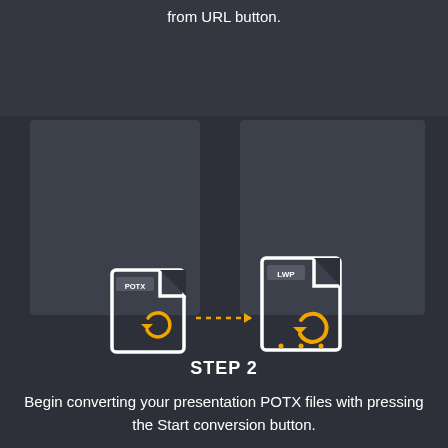from URL button.
[Figure (infographic): Two file conversion icons: POTX file on left with orange circular arrows, dotted arrow pointing right to LWP file on right with orange circular arrows, shown over two gray panel backgrounds.]
STEP 2
Begin converting your presentation POTX files with pressing the Start conversion button.